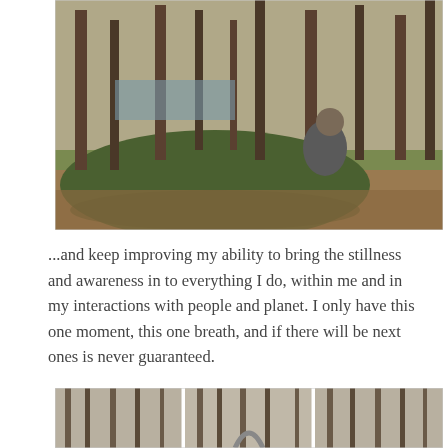[Figure (photo): Person sitting on a large moss-covered boulder in a forest with tall thin trees and leaf-covered ground, water visible in the background]
...and keep improving my ability to bring the stillness and awareness in to everything I do, within me and in my interactions with people and planet. I only have this one moment, this one breath, and if there will be next ones is never guaranteed.
[Figure (photo): Three-panel collage of forest scenes with bare trees in winter/early spring, a stone arch or rock formation visible in the center panel]